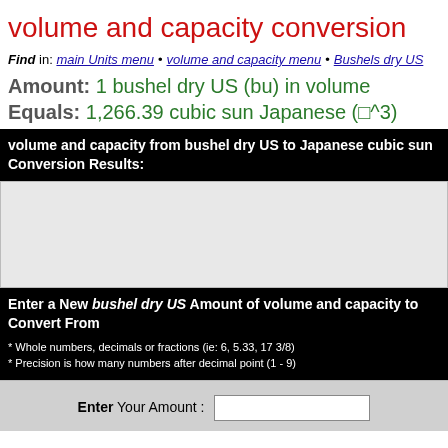volume and capacity conversion
Find in: main Units menu • volume and capacity menu • Bushels dry US
Amount: 1 bushel dry US (bu) in volume
Equals: 1,266.39 cubic sun Japanese (□^3)
volume and capacity from bushel dry US to Japanese cubic sun Conversion Results:
[Figure (other): Gray empty content area placeholder]
Enter a New bushel dry US Amount of volume and capacity to Convert From
* Whole numbers, decimals or fractions (ie: 6, 5.33, 17 3/8)
* Precision is how many numbers after decimal point (1 - 9)
Enter Your Amount :